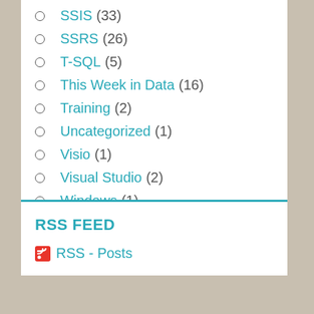SSIS (33)
SSRS (26)
T-SQL (5)
This Week in Data (16)
Training (2)
Uncategorized (1)
Visio (1)
Visual Studio (2)
Windows (1)
RSS FEED
RSS - Posts